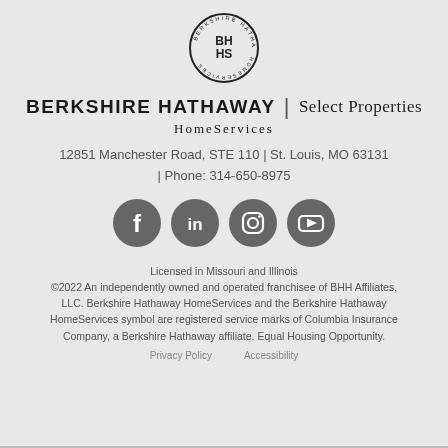[Figure (logo): Berkshire Hathaway HomeServices circular logo with BH HS initials]
BERKSHIRE HATHAWAY | Select Properties HomeServices
12851 Manchester Road, STE 110 | St. Louis, MO 63131 | Phone: 314-650-8975
[Figure (illustration): Social media icons: Facebook, LinkedIn, Instagram, YouTube]
Licensed in Missouri and Illinois
©2022 An independently owned and operated franchisee of BHH Affiliates, LLC. Berkshire Hathaway HomeServices and the Berkshire Hathaway HomeServices symbol are registered service marks of Columbia Insurance Company, a Berkshire Hathaway affiliate. Equal Housing Opportunity.
Privacy Policy    Accessibility